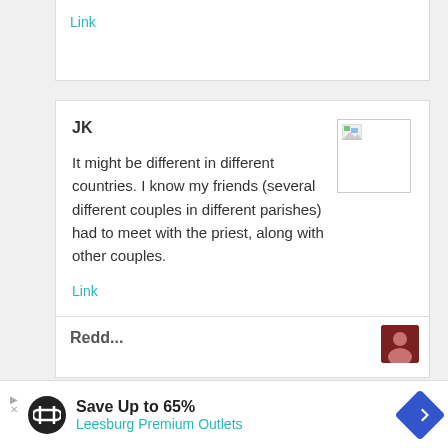Link
JK
It might be different in different countries. I know my friends (several different couples in different parishes) had to meet with the priest, along with other couples.
Link
Redd...
[Figure (infographic): Advertisement banner: Save Up to 65% Leesburg Premium Outlets with logo and arrow icon]